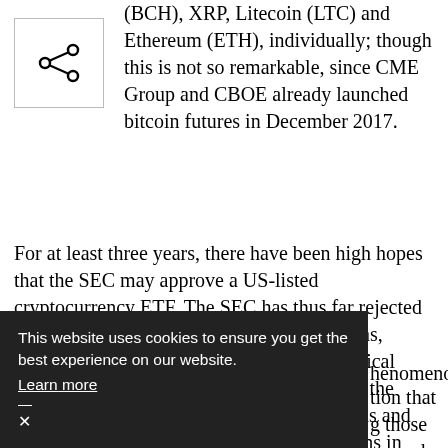[Figure (other): Share icon inside a bordered square box]
(BCH), XRP, Litecoin (LTC) and Ethereum (ETH), individually; though this is not so remarkable, since CME Group and CBOE already launched bitcoin futures in December 2017.
For at least three years, there have been high hopes that the SEC may approve a US-listed cryptocurrency ETF. The SEC has thus far rejected at least nine cryptocurrency ETF applications, including those based on synthetic and physical models, but the regulator has not foreclosed the possibility. The SEC has postponed decisions and reverted with further comments and questions in what could be interpreted as an iterative and investigative process of [obscured] phenomenon.
[partially obscured] tion that [partially obscured] g those around self-regulated exchanges, could lead to approval for a US-listed cryptocurrency ETF
This website uses cookies to ensure you get the best experience on our website. Learn more ×